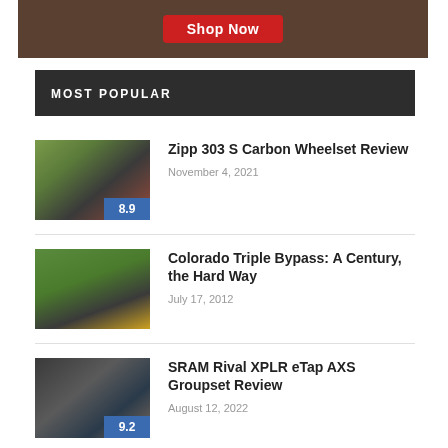[Figure (photo): Advertisement banner with red Shop Now button on a dark brown background]
MOST POPULAR
[Figure (photo): Thumbnail image of a bicycle wheel/wheelset with rating badge 8.9]
Zipp 303 S Carbon Wheelset Review
November 4, 2021
[Figure (photo): Thumbnail image of a mountain road cycling scene without rating badge]
Colorado Triple Bypass: A Century, the Hard Way
July 17, 2012
[Figure (photo): Thumbnail image of a bicycle groupset/drivetrain with rating badge 9.2]
SRAM Rival XPLR eTap AXS Groupset Review
August 12, 2022